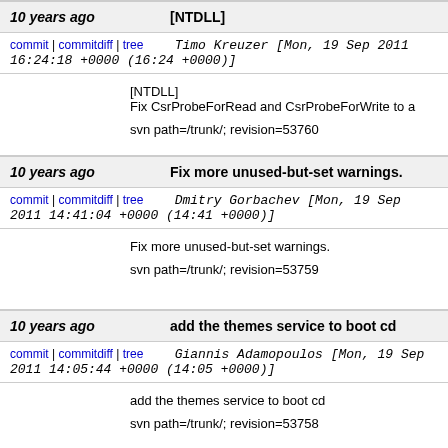10 years ago | [NTDLL]
commit | commitdiff | tree   Timo Kreuzer [Mon, 19 Sep 2011 16:24:18 +0000 (16:24 +0000)]
[NTDLL]
Fix CsrProbeForRead and CsrProbeForWrite to a

svn path=/trunk/; revision=53760
10 years ago | Fix more unused-but-set warnings.
commit | commitdiff | tree   Dmitry Gorbachev [Mon, 19 Sep 2011 14:41:04 +0000 (14:41 +0000)]
Fix more unused-but-set warnings.

svn path=/trunk/; revision=53759
10 years ago | add the themes service to boot cd
commit | commitdiff | tree   Giannis Adamopoulos [Mon, 19 Sep 2011 14:05:44 +0000 (14:05 +0000)]
add the themes service to boot cd

svn path=/trunk/; revision=53758